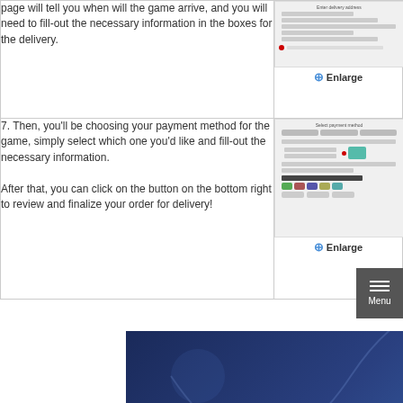page will tell you when will the game arrive, and you will need to fill-out the necessary information in the boxes for the delivery.
[Figure (screenshot): Screenshot of a delivery address form with input fields and a red dot indicator, with an Enlarge button]
7. Then, you'll be choosing your payment method for the game, simply select which one you'd like and fill-out the necessary information.

After that, you can click on the button on the bottom right to review and finalize your order for delivery!
[Figure (screenshot): Screenshot of a payment method selection form with credit card fields, payment icons, and an Enlarge button]
[Figure (photo): Photo of a smartphone displaying the Facebook logo/app on a blue DNA helix background]